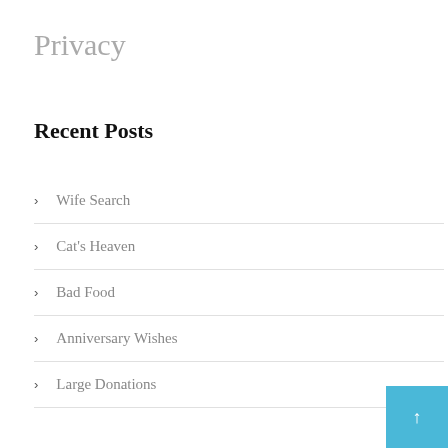Privacy
Recent Posts
Wife Search
Cat's Heaven
Bad Food
Anniversary Wishes
Large Donations